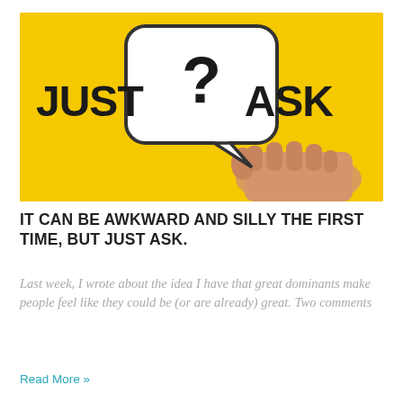[Figure (photo): Yellow background photo showing a hand holding a white speech bubble sign with a question mark. Bold text 'JUST' on the left and 'ASK' on the right.]
IT CAN BE AWKWARD AND SILLY THE FIRST TIME, BUT JUST ASK.
Last week, I wrote about the idea I have that great dominants make people feel like they could be (or are already) great. Two comments
Read More »